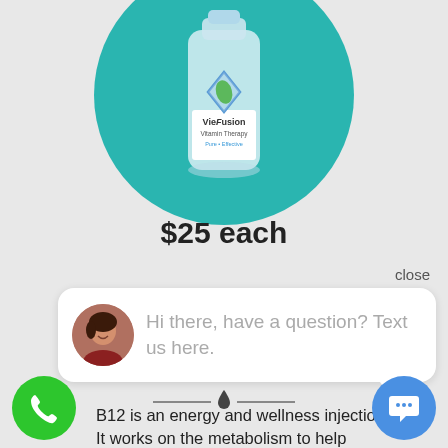[Figure (photo): VieFusion Vitamin Therapy bottle on teal circular background. Label reads: VieFusion Vitamin Therapy Pure • Effective]
$25 each
close
Hi there, have a question? Text us here.
B12 is an energy and wellness injection. It works on the metabolism to help increase